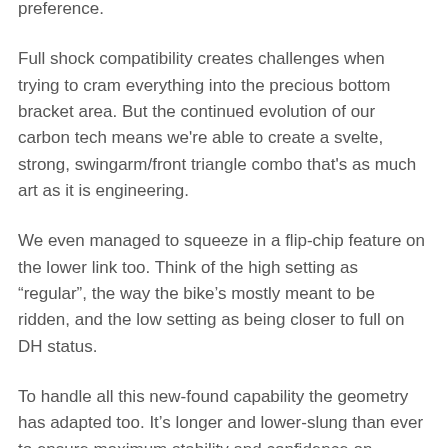preference.
Full shock compatibility creates challenges when trying to cram everything into the precious bottom bracket area. But the continued evolution of our carbon tech means we're able to create a svelte, strong, swingarm/front triangle combo that's as much art as it is engineering.
We even managed to squeeze in a flip-chip feature on the lower link too. Think of the high setting as “regular”, the way the bike’s mostly meant to be ridden, and the low setting as being closer to full on DH status.
To handle all this new-found capability the geometry has adapted too. It’s longer and lower-slung than ever to ensure maximum stability and confidence on absolutely everything.